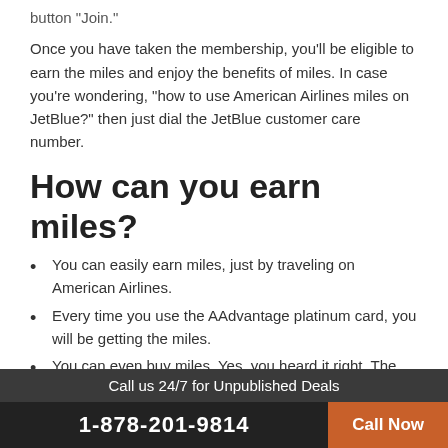button "Join."
Once you have taken the membership, you'll be eligible to earn the miles and enjoy the benefits of miles. In case you're wondering, "how to use American Airlines miles on JetBlue?" then just dial the JetBlue customer care number.
How can you earn miles?
You can easily earn miles, just by traveling on American Airlines.
Every time you use the AAdvantage platinum card, you will be getting the miles.
You can even buy miles. Yes, you heard it right. The other thing you can do is that you can transfer or gift your miles.
Benefits of miles:
Call us 24/7 for Unpublished Deals | 1-878-201-9814 | Call Now